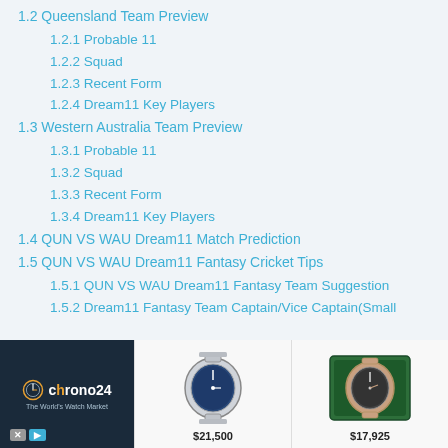1.2 Queensland Team Preview
1.2.1 Probable 11
1.2.2 Squad
1.2.3 Recent Form
1.2.4 Dream11 Key Players
1.3 Western Australia Team Preview
1.3.1 Probable 11
1.3.2 Squad
1.3.3 Recent Form
1.3.4 Dream11 Key Players
1.4 QUN VS WAU Dream11 Match Prediction
1.5 QUN VS WAU Dream11 Fantasy Cricket Tips
1.5.1 QUN VS WAU Dream11 Fantasy Team Suggestion
1.5.2 Dream11 Fantasy Team Captain/Vice Captain(Small
[Figure (photo): Chrono24 advertisement banner showing two luxury watches priced at $21,500 and $17,925 with the Chrono24 logo and tagline 'The World's Watch Market']